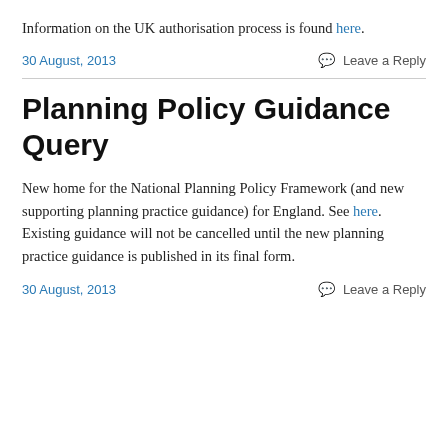Information on the UK authorisation process is found here.
30 August, 2013    Leave a Reply
Planning Policy Guidance Query
New home for the National Planning Policy Framework (and new supporting planning practice guidance) for England. See here. Existing guidance will not be cancelled until the new planning practice guidance is published in its final form.
30 August, 2013    Leave a Reply